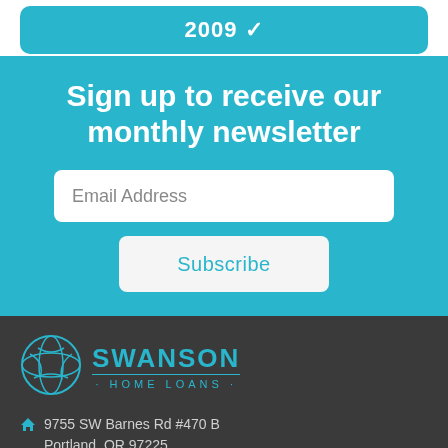2009 ✓
Sign up to receive our monthly newsletter
Email Address
Subscribe
[Figure (logo): Swanson Home Loans globe logo with teal circular design]
SWANSON HOME LOANS
9755 SW Barnes Rd #470 B Portland, OR 97225